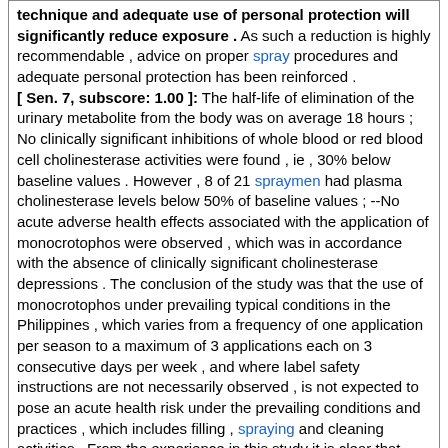technique and adequate use of personal protection will significantly reduce exposure . As such a reduction is highly recommendable , advice on proper spray procedures and adequate personal protection has been reinforced . [ Sen. 7, subscore: 1.00 ]: The half-life of elimination of the urinary metabolite from the body was on average 18 hours ; No clinically significant inhibitions of whole blood or red blood cell cholinesterase activities were found , ie , 30% below baseline values . However , 8 of 21 spraymen had plasma cholinesterase levels below 50% of baseline values ; --No acute adverse health effects associated with the application of monocrotophos were observed , which was in accordance with the absence of clinically significant cholinesterase depressions . The conclusion of the study was that the use of monocrotophos under prevailing typical conditions in the Philippines , which varies from a frequency of one application per season to a maximum of 3 applications each on 3 consecutive days per week , and where label safety instructions are not necessarily observed , is not expected to pose an acute health risk under the prevailing conditions and practices , which includes filling , spraying and cleaning activities . From the experience in this study it is clear that proper spraying technique and adequate use of personal protection will significantly reduce exposure . As such a reduction is highly recommendable , advice on proper spray procedures and adequate personal protection has been reinforced .
Score: 7.00
Title: Indoor residual spraying with alphacypermethrin controls malaria in Pakistan : a community-randomized trial
Year: 2000
Literature: oryza Field: abstract Doc ID: pub10964269
Abstract: We conducted a community-randomized controlled trial in